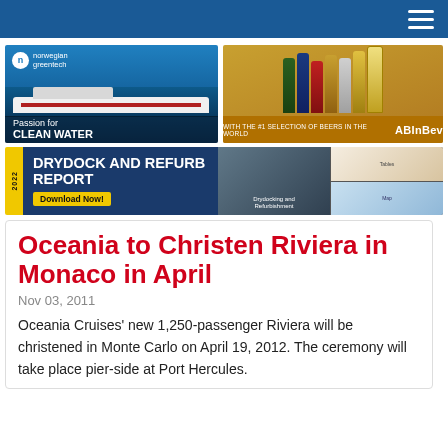Navigation bar with hamburger menu
[Figure (photo): Norwegian Greentech advertisement showing a cruise ship with tagline 'Passion for CLEAN WATER']
[Figure (photo): AB InBev advertisement showing beer bottles with text 'WITH THE #1 SELECTION OF BEERS IN THE WORLD ABInBev']
[Figure (infographic): 2022 Drydock and Refurb Report banner advertisement with Download Now button]
Oceania to Christen Riviera in Monaco in April
Nov 03, 2011
Oceania Cruises' new 1,250-passenger Riviera will be christened in Monte Carlo on April 19, 2012. The ceremony will take place pier-side at Port Hercules.